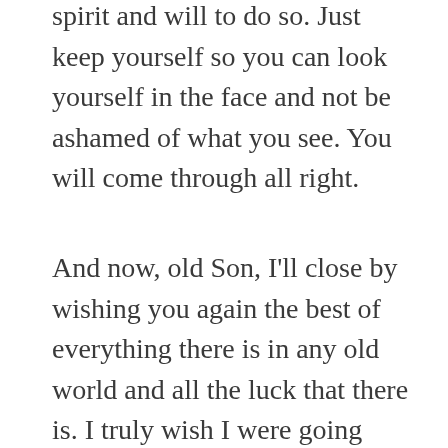spirit and will to do so. Just keep yourself so you can look yourself in the face and not be ashamed of what you see. You will come through all right.
And now, old Son, I'll close by wishing you again the best of everything there is in any old world and all the luck that there is. I truly wish I were going with you — it is hard too to stand and wait.